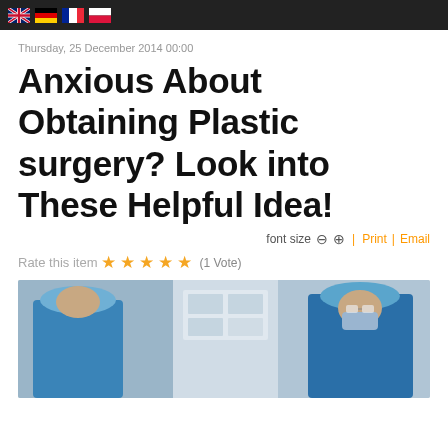Flag icons: UK, Germany, France, Poland
Thursday, 25 December 2014 00:00
Anxious About Obtaining Plastic surgery? Look into These Helpful Idea!
font size − + | Print | Email
Rate this item ★★★★★ (1 Vote)
[Figure (photo): Surgical team in blue scrubs and caps in an operating room]